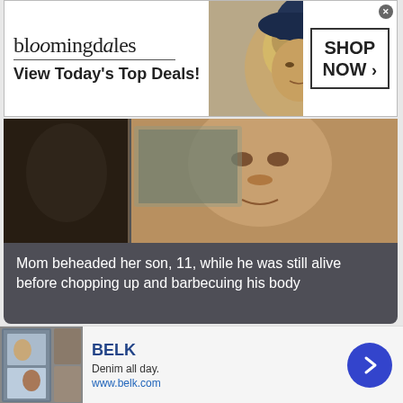[Figure (screenshot): Bloomingdales advertisement banner: logo, tagline 'View Today's Top Deals!', model image with hat, 'SHOP NOW >' button]
[Figure (photo): Close-up photo of a child's face]
Mom beheaded her son, 11, while he was still alive before chopping up and barbecuing his body
[Figure (screenshot): BuzzFeed promoted article: '37 BEAUTY PRODUCTS WITH SUCH GOOD REVIEWS YOU MIGHT WANT TO TRY THEM YOURSELF' with product image and 22 badge]
[Figure (screenshot): Belk advertisement: 'BELK - Denim all day. www.belk.com' with product images and navigation arrow]